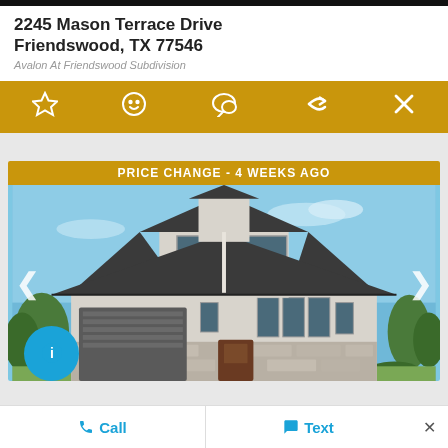2245 Mason Terrace Drive Friendswood, TX 77546
Avalon At Friendswood Subdivision
[Figure (screenshot): Action bar with icons: star/favorite, smiley face, chat bubble, share/forward arrow, and X close button, on a gold/yellow-ochre background]
[Figure (photo): Exterior rendering of a two-story suburban home with dark gray roof, white/light gray stucco exterior, large windows, stone accents, attached dark garage door, and blue sky background. Banner reads PRICE CHANGE - 4 WEEKS AGO. Navigation arrows on left and right. Blue circle info button at bottom left.]
Call
Text